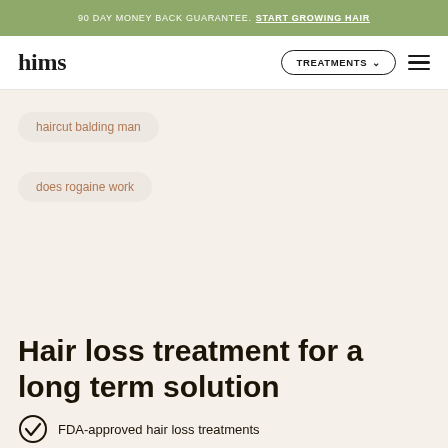90 DAY MONEY BACK GUARANTEE. START GROWING HAIR
[Figure (logo): hims logo in bold serif font]
haircut balding man
does rogaine work
Hair loss treatment for a long term solution
FDA-approved hair loss treatments